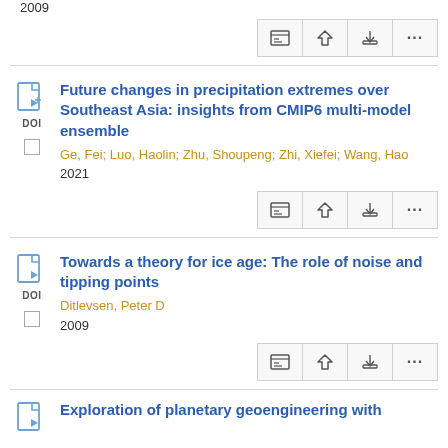2009
Future changes in precipitation extremes over Southeast Asia: insights from CMIP6 multi-model ensemble
Ge, Fei; Luo, Haolin; Zhu, Shoupeng; Zhi, Xiefei; Wang, Hao
2021
Towards a theory for ice age: The role of noise and tipping points
Ditlevsen, Peter D
2009
Exploration of planetary geoengineering with